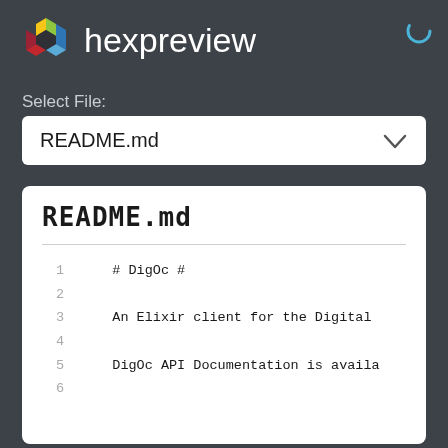[Figure (logo): hexpreview logo with colorful hexagon icon and brand name]
Select File:
README.md
README.md
1   # DigOc #
2
3   An Elixir client for the Digital
4
5   DigOc API Documentation is availa
6